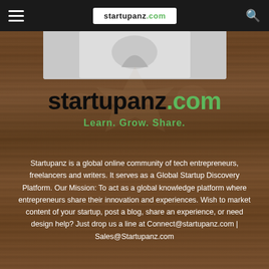startupanz.com
[Figure (logo): Startupanz.com logo white box with black and green text in nav bar]
[Figure (photo): Faded product/app image strip below nav bar]
startupanz.com
Learn. Grow. Share.
Startupanz is a global online community of tech entrepreneurs, freelancers and writers. It serves as a Global Startup Discovery Platform. Our Mission: To act as a global knowledge platform where entrepreneurs share their innovation and experiences. Wish to market content of your startup, post a blog, share an experience, or need design help? Just drop us a line at Connect@startupanz.com | Sales@Startupanz.com